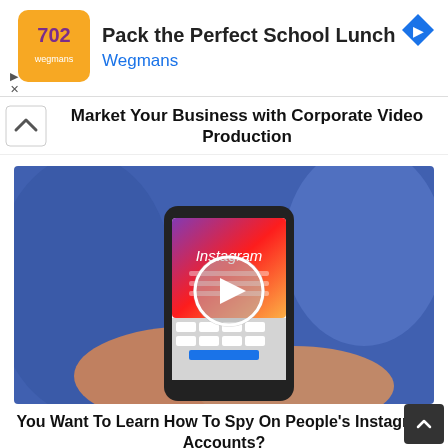[Figure (screenshot): Wegmans ad banner: orange logo on left, 'Pack the Perfect School Lunch' title, 'Wegmans' subtitle in blue, navigation arrow diamond icon on right]
Market Your Business with Corporate Video Production
[Figure (photo): Person in blue shirt holding a smartphone displaying the Instagram app login screen, with a circular play button overlay in the center of the image]
You Want To Learn How To Spy On People’s Instagram Accounts?